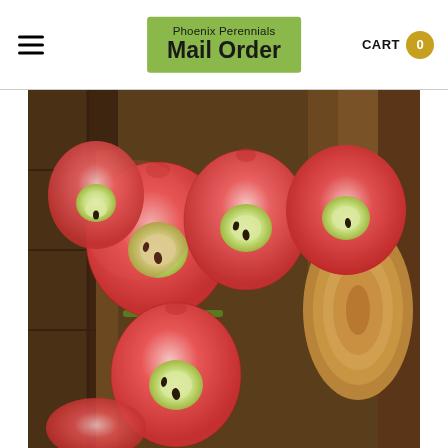Phoenix Perennials Mail Order | CART 0
[Figure (photo): Close-up photograph of several cross-sectioned apples with pink-red flesh and white/green cores arranged on a pile of cut firewood logs. The apples show their internal seeds and flesh, revealing a pink-red staining throughout.]